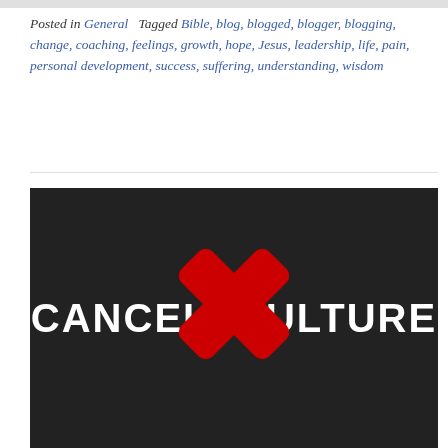Posted in General   Tagged Bible, blog, blogged, blogger, blogging, change, coaching, feelings, growth, hope, Jesus, leadership, life, pain, personal development, success, suffering, understanding, wisdom
[Figure (illustration): Dark background image with bold white text reading 'CANCEL CULTURE' and a large red X overlaid across the text, symbolizing opposition to cancel culture.]